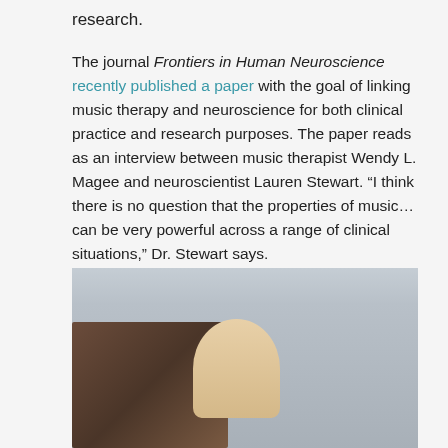research.
The journal Frontiers in Human Neuroscience recently published a paper with the goal of linking music therapy and neuroscience for both clinical practice and research purposes. The paper reads as an interview between music therapist Wendy L. Magee and neuroscientist Lauren Stewart. “I think there is no question that the properties of music…can be very powerful across a range of clinical situations,” Dr. Stewart says.
[Figure (photo): A classroom or therapy session scene showing a smiling blonde woman in the foreground appearing to play guitar, with other adults and children seated at desks in the background.]